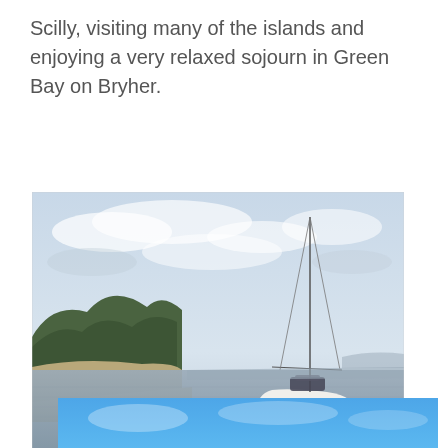Scilly, visiting many of the islands and enjoying a very relaxed sojourn in Green Bay on Bryher.
[Figure (photo): A white sailboat moored in a calm, narrow creek or harbour at low tide. Sandy banks and green tree-covered hills are visible on the left. The sky is overcast with light cloud cover. The boat's reflection is visible in the still water.]
Newtown Creek
[Figure (photo): Partial view of a second photograph showing a bright blue sky, cut off at the bottom of the page.]